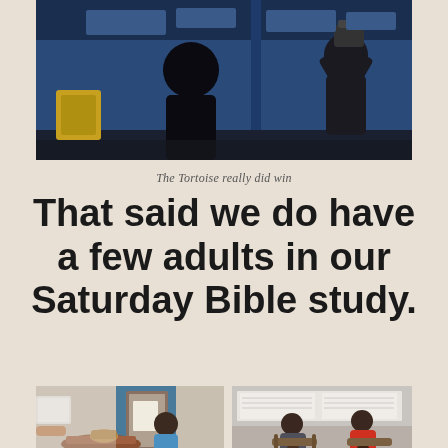[Figure (photo): Photo of people in a room with blue walls, one person standing with back to camera, another person in background]
The Tortoise really did win
That said we do have a few adults in our Saturday Bible study.
[Figure (photo): Photo of a room with a wooden table and a basket, a person in blue shirt seated, and a door in the background]
[Figure (photo): Photo of people seated in chairs in a room, two individuals visible, one in a red shirt]